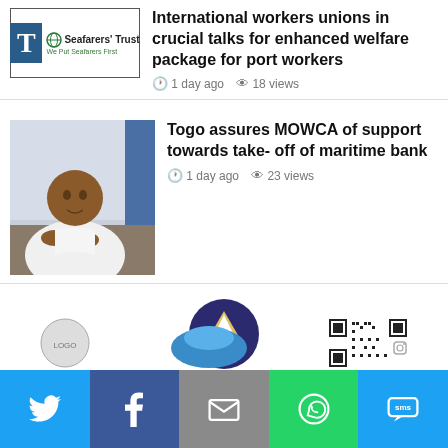[Figure (logo): Seafarers Trust logo with TT emblem and tagline 'We Put Seafarers First']
International workers unions in crucial talks for enhanced welfare package for port workers
1 day ago  18 views
[Figure (photo): Photo of a man in white attire seated at a desk]
Togo assures MOWCA of support towards take- off of maritime bank
1 day ago  23 views
[Figure (logo): STAYCLEAN Professionals logo]
[Figure (photo): Bottom advertisement images with QR code]
[Figure (infographic): Social share bar with Twitter, Facebook, Email, WhatsApp, SMS buttons]